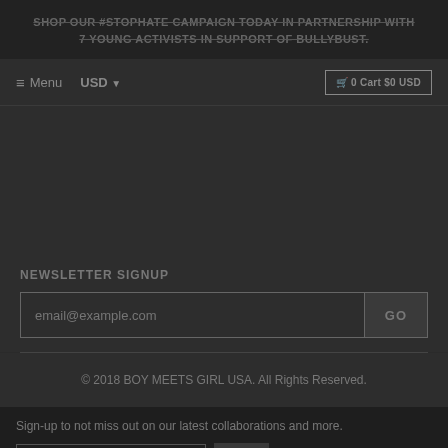SHOP OUR #STOPHATE CAMPAIGN TODAY IN PARTNERSHIP WITH 7 YOUNG ACTIVISTS IN SUPPORT OF BULLYBUST.
≡ Menu   USD ▼   🛒 0 Cart $0 USD
NEWSLETTER SIGNUP
email@example.com   GO
© 2018 BOY MEETS GIRL USA. All Rights Reserved.
Sign-up to not miss out on our latest collaborations and more.
email@example.com   Chat with us   ✕